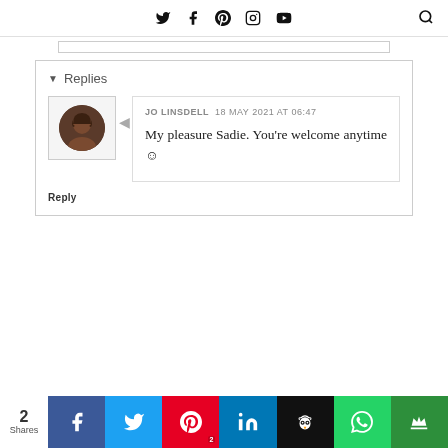Social media navigation icons: Twitter, Facebook, Pinterest, Instagram, YouTube, Search
Replies
JO LINSDELL  18 MAY 2021 AT 06:47
My pleasure Sadie. You're welcome anytime :)
Reply
2 Shares — Facebook, Twitter, Pinterest (2), LinkedIn, Hootsuite, WhatsApp, Crown